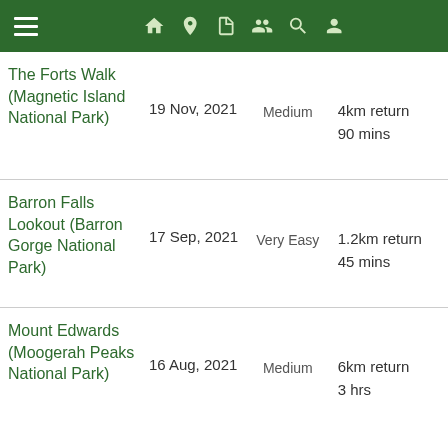Navigation bar with menu and icons
| Name | Date | Difficulty | Distance/Duration |
| --- | --- | --- | --- |
| The Forts Walk (Magnetic Island National Park) | 19 Nov, 2021 | Medium | 4km return
90 mins |
| Barron Falls Lookout (Barron Gorge National Park) | 17 Sep, 2021 | Very Easy | 1.2km return
45 mins |
| Mount Edwards (Moogerah Peaks National Park) | 16 Aug, 2021 | Medium | 6km return
3 hrs |